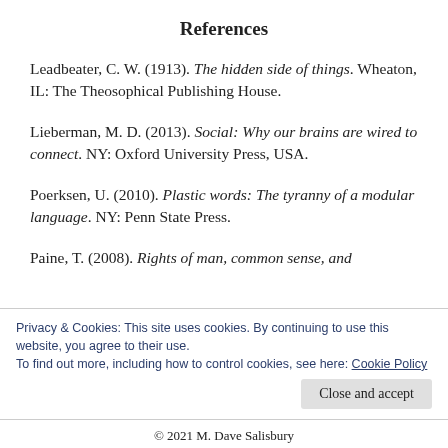References
Leadbeater, C. W. (1913). The hidden side of things. Wheaton, IL: The Theosophical Publishing House.
Lieberman, M. D. (2013). Social: Why our brains are wired to connect. NY: Oxford University Press, USA.
Poerksen, U. (2010). Plastic words: The tyranny of a modular language. NY: Penn State Press.
Paine, T. (2008). Rights of man, common sense, and
Privacy & Cookies: This site uses cookies. By continuing to use this website, you agree to their use.
To find out more, including how to control cookies, see here: Cookie Policy
© 2021 M. Dave Salisbury